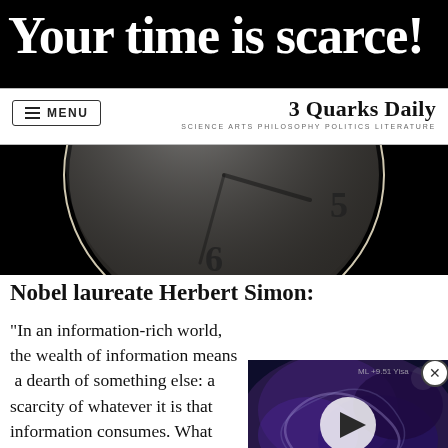[Figure (photo): Dark banner with large white bold text reading 'Your time is scarce!' partially visible at top]
MENU   3 Quarks Daily — SCIENCE ARTS PHILOSOPHY POLITICS LITERATURE
[Figure (photo): Close-up photo of an analog clock face on dark/black background, showing numbers 5 and 6 visible]
Nobel laureate Herbert Simon:
“In an information-rich world, the wealth of information means a dearth of something else: a scarcity of whatever it is that information consumes. What information consumes is obvious: it consumes the attention of its recipients a wealth of information a poverty of attention an to allocate that attention
[Figure (photo): Video overlay thumbnail showing swirling abstract dark blue/purple imagery (appears to be a video player with play button)]